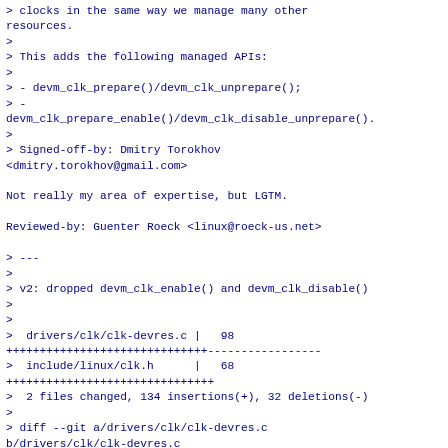> clocks in the same way we manage many other resources.
>
> This adds the following managed APIs:
>
> - devm_clk_prepare()/devm_clk_unprepare();
> -
devm_clk_prepare_enable()/devm_clk_disable_unprepare().
>
> Signed-off-by: Dmitry Torokhov
<dmitry.torokhov@gmail.com>

Not really my area of expertise, but LGTM.

Reviewed-by: Guenter Roeck <linux@roeck-us.net>

> ---
>
> v2: dropped devm_clk_enable() and devm_clk_disable()
>
>
>  drivers/clk/clk-devres.c |   98
++++++++++++++++++++++++++++++-----------------
>  include/linux/clk.h      |   68
+++++++++++++++++++++++++++++++
>  2 files changed, 134 insertions(+), 32 deletions(-)
>
> diff --git a/drivers/clk/clk-devres.c
b/drivers/clk/clk-devres.c
> index 3a218c3a06ae..2ff94ffe11d3 100644
> --- a/drivers/clk/clk-devres.c